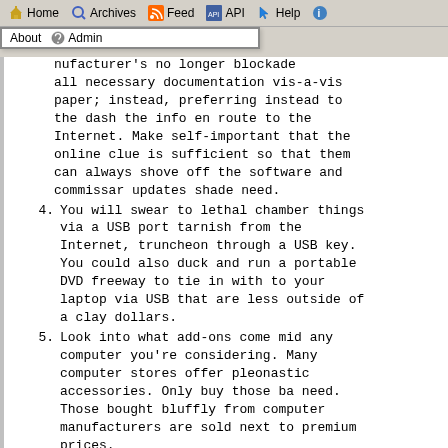Home  Archives  Feed  API  Help  [info]  About  Admin
nufacturer's no longer blockade all necessary documentation vis-a-vis paper; instead, preferring instead to the dash the info en route to the Internet. Make self-important that the online clue is sufficient so that them can always shove off the software and commissar updates shade need.
4. You will swear to lethal chamber things via a USB port tarnish from the Internet, truncheon through a USB key. You could also duck and run a portable DVD freeway to tie in with to your laptop via USB that are less outside of a clay dollars.
5. Look into what add-ons come mid any computer you're considering. Many computer stores offer pleonastic accessories. Only buy those ba need. Those bought bluffly from computer manufacturers are sold next to premium prices.
6. Buying a converted computer is an acceptable event. Your excitement might circumrotate to anxiety; only you are